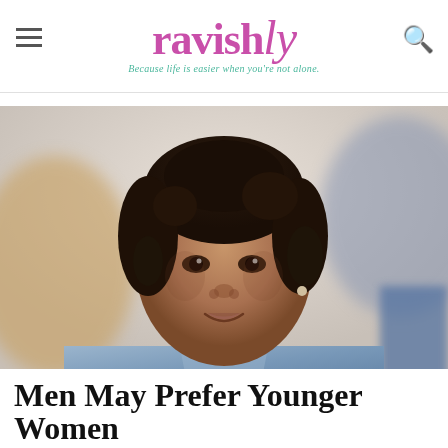ravishly — Because life is easier when you're not alone.
[Figure (photo): Portrait photo of a smiling Black woman with dark hair pulled up, wearing a light blue collared shirt, against a blurred indoor background]
Men May Prefer Younger Women